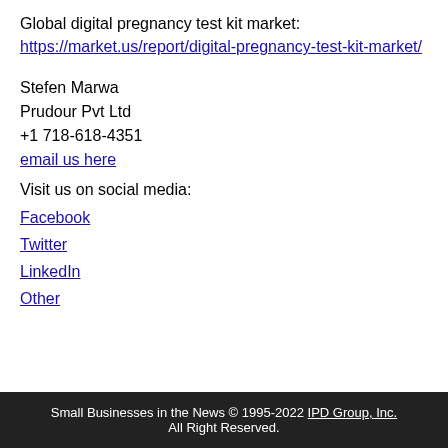Global digital pregnancy test kit market: https://market.us/report/digital-pregnancy-test-kit-market/
Stefen Marwa
Prudour Pvt Ltd
+1 718-618-4351
email us here
Visit us on social media:
Facebook
Twitter
LinkedIn
Other
Small Businesses in the News © 1995-2022 IPD Group, Inc. All Right Reserved.